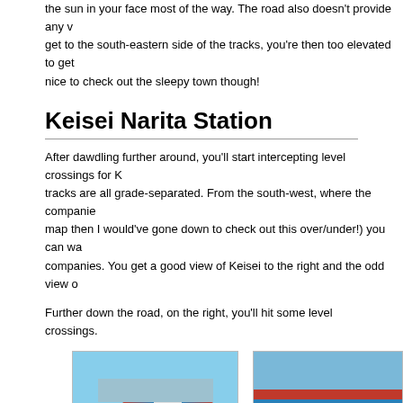the sun in your face most of the way. The road also doesn't provide any view — when you get to the south-eastern side of the tracks, you're then too elevated to get a decent shot. It's nice to check out the sleepy town though!
Keisei Narita Station
After dawdling further around, you'll start intercepting level crossings for K... tracks are all grade-separated. From the south-west, where the companies... map then I would've gone down to check out this over/under!) you can wa... companies. You get a good view of Keisei to the right and the odd view o...
Further down the road, on the right, you'll hit some level crossings.
[Figure (photo): Keisei train at level crossing, train approaching from tracks, buildings visible in background]
[Figure (photo): Close-up of Keisei train at level crossing, silver and red train body visible]
[Figure (photo): Bottom row photos: utility poles and wires on left, blue sky with poles on right, white area at bottom]